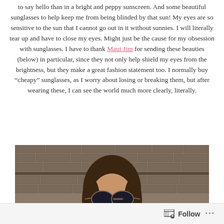to say hello than in a bright and peppy sunscreen. And some beautiful sunglasses to help keep me from being blinded by that sun! My eyes are so sensitive to the sun that I cannot go out in it without sunnies. I will literally tear up and have to close my eyes. Might just be the cause for my obsession with sunglasses. I have to thank Maui Jim for sending these beauties (below) in particular, since they not only help shield my eyes from the brightness, but they make a great fashion statement too. I normally buy “cheapy” sunglasses, as I worry about losing or breaking them, but after wearing these, I can see the world much more clearly, literally.
[Figure (photo): Woman wearing aviator sunglasses standing in front of a brick wall, photographed from the shoulders up, with dark brown hair.]
Follow ...